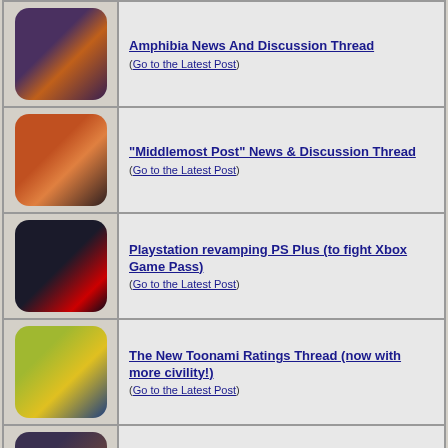Amphibia News And Discussion Thread (Go to the Latest Post)
"Middlemost Post" News & Discussion Thread (Go to the Latest Post)
Playstation revamping PS Plus (to fight Xbox Game Pass) (Go to the Latest Post)
The New Toonami Ratings Thread (now with more civility!) (Go to the Latest Post)
Crunchyroll News & Discussion Thread (Go to the Latest Post)
"Bugs Bunny Builders" News & Discussion Thread (Spoilers) (Go to the Latest Post)